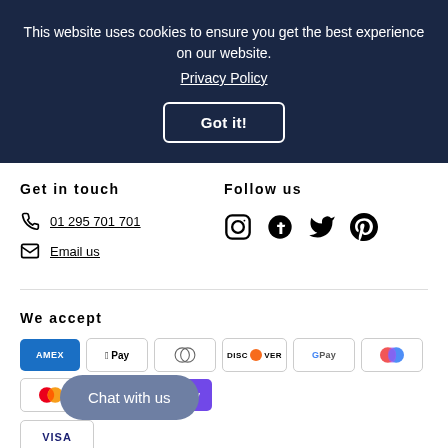This website uses cookies to ensure you get the best experience on our website.
Privacy Policy
Got it!
Get in touch
01 295 701 701
Email us
Follow us
[Figure (infographic): Social media icons: Instagram, Facebook, Twitter, Pinterest]
We accept
[Figure (infographic): Payment icons: Amex, Apple Pay, Diners Club, Discover, Google Pay, Maestro, Mastercard, PayPal, OPay, Visa]
Chat with us